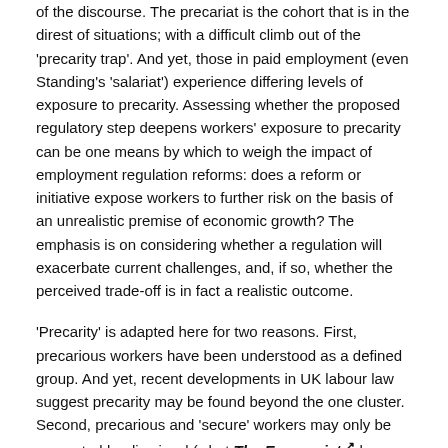of the discourse. The precariat is the cohort that is in the direst of situations; with a difficult climb out of the 'precarity trap'. And yet, those in paid employment (even Standing's 'salariat') experience differing levels of exposure to precarity. Assessing whether the proposed regulatory step deepens workers' exposure to precarity can be one means by which to weigh the impact of employment regulation reforms: does a reform or initiative expose workers to further risk on the basis of an unrealistic premise of economic growth? The emphasis is on considering whether a regulation will exacerbate current challenges, and, if so, whether the perceived trade-off is in fact a realistic outcome.
'Precarity' is adapted here for two reasons. First, precarious workers have been understood as a defined group. And yet, recent developments in UK labour law suggest precarity may be found beyond the one cluster. Second, precarious and 'secure' workers may only be separated by dismissal (what The Economist has termed 'the hedge against being sacked').
Stimulus or exposure to risk
The early years of twenty-first century UK labour/employment law offer a number of examples for collective consideration. Reforms have been passed undercutting dismissal protections: doubling the